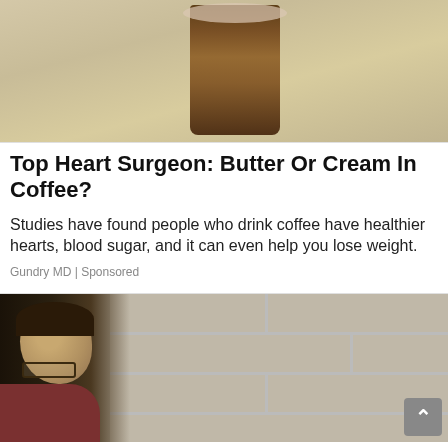[Figure (photo): Photo of a glass of iced coffee on a wooden surface, viewed from above]
Top Heart Surgeon: Butter Or Cream In Coffee?
Studies have found people who drink coffee have healthier hearts, blood sugar, and it can even help you lose weight.
Gundry MD | Sponsored
[Figure (photo): Photo of a man wearing glasses looking closely at a brick or cinder block wall]